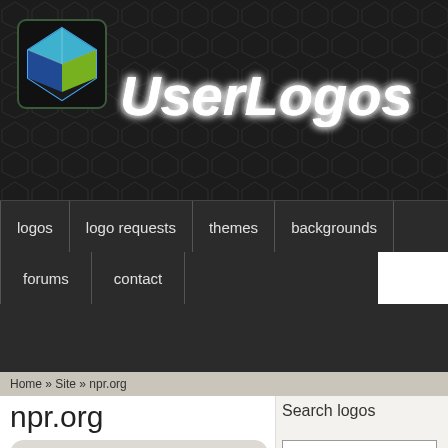[Figure (logo): UserLogos website header with cube logo icon and stylized 'UserLogos' text on dark patterned background]
logos  logo requests  themes  backgrounds  forums  contact
Home » Site » npr.org
npr.org
Search logos
npr.org
sogol resu —Wed, 03/23/2011 - 14:37
Logos: